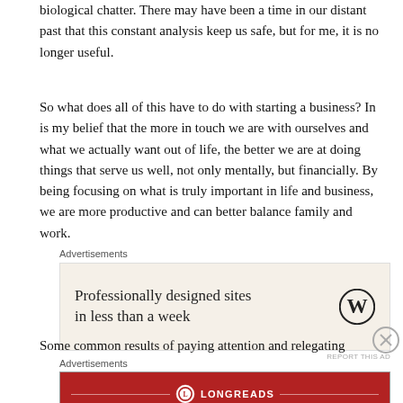biological chatter. There may have been a time in our distant past that this constant analysis keep us safe, but for me, it is no longer useful.
So what does all of this have to do with starting a business? In is my belief that the more in touch we are with ourselves and what we actually want out of life, the better we are at doing things that serve us well, not only mentally, but financially. By being focusing on what is truly important in life and business, we are more productive and can better balance family and work.
Advertisements
[Figure (other): Advertisement: WordPress - Professionally designed sites in less than a week]
Some common results of paying attention and relegating
Advertisements
[Figure (other): Advertisement: Longreads - The best stories on the web — ours, and everyone else's.]